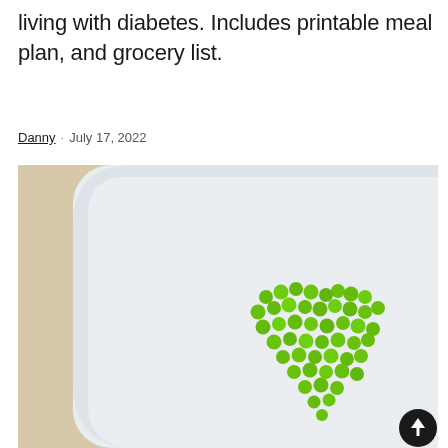living with diabetes. Includes printable meal plan, and grocery list.
Danny · July 17, 2022
[Figure (photo): A white square plate photographed from above on a light wood surface. Green peas are arranged in a heart shape in the lower-center right of the plate. A circular black scroll-up button with an upward arrow is visible in the bottom-right corner.]